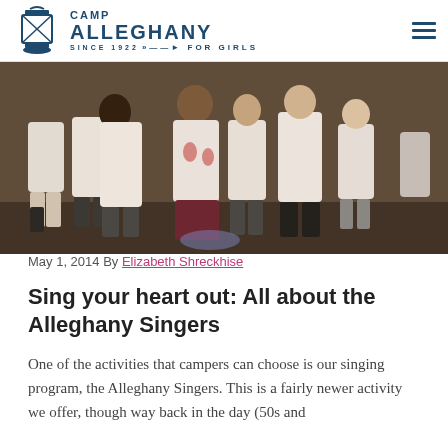Camp Alleghany For Girls
[Figure (photo): Group of girls in white t-shirts seen from behind, gathered together indoors in a camp setting.]
May 1, 2014 By Elizabeth Shreckhise
Sing your heart out: All about the Alleghany Singers
One of the activities that campers can choose is our singing program, the Alleghany Singers. This is a fairly newer activity we offer, though way back in the day (50s and